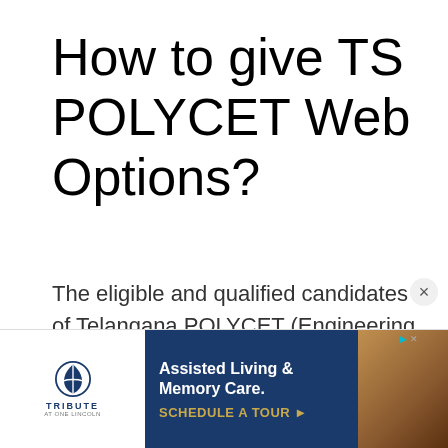How to give TS POLYCET Web Options?
The eligible and qualified candidates of Telangana POLYCET (Engineering State Rank Holders) who had passed SSC or its equivalent desirous of seeking admission into Diploma Courses in
[Figure (other): Advertisement banner for Tribute at One Lincoln assisted living facility. Shows the Tribute logo on left, dark blue center section with text 'Assisted Living & Memory Care. SCHEDULE A TOUR ►', and a photo of people on the right.]